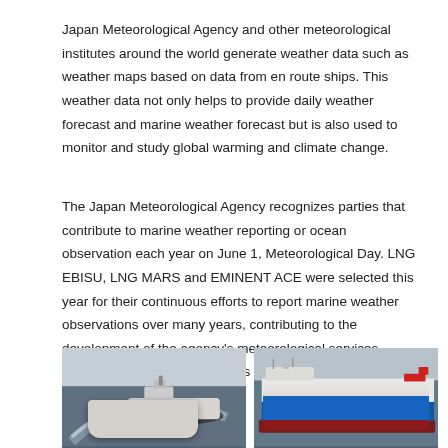Japan Meteorological Agency and other meteorological institutes around the world generate weather data such as weather maps based on data from en route ships. This weather data not only helps to provide daily weather forecast and marine weather forecast but is also used to monitor and study global warming and climate change.
The Japan Meteorological Agency recognizes parties that contribute to marine weather reporting or ocean observation each year on June 1, Meteorological Day. LNG EBISU, LNG MARS and EMINENT ACE were selected this year for their continuous efforts to report marine weather observations over many years, contributing to the development of the agency's meteorological services operations, and received letters of appreciation.
[Figure (photo): Aerial photograph of a white LNG tanker making a wide turning arc on a grey sea under overcast skies]
[Figure (photo): Side view of a large blue-hulled car carrier / vessel sailing on grey sea under overcast skies]